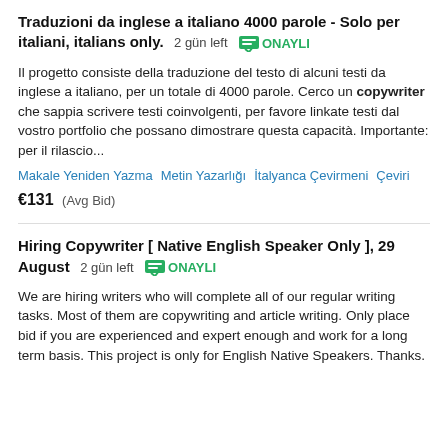Traduzioni da inglese a italiano 4000 parole - Solo per italiani, italians only.  2 gün left  ONAYLI
Il progetto consiste della traduzione del testo di alcuni testi da inglese a italiano, per un totale di 4000 parole. Cerco un copywriter che sappia scrivere testi coinvolgenti, per favore linkate testi dal vostro portfolio che possano dimostrare questa capacità. Importante: per il rilascio...
Makale Yeniden Yazma  Metin Yazarlığı  İtalyanca Çevirmeni  Çeviri
€131  (Avg Bid)
Hiring Copywriter [ Native English Speaker Only ], 29 August  2 gün left  ONAYLI
We are hiring writers who will complete all of our regular writing tasks. Most of them are copywriting and article writing. Only place bid if you are experienced and expert enough and work for a long term basis. This project is only for English Native Speakers. Thanks.